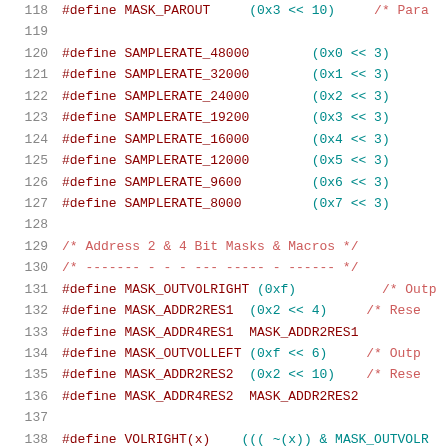[Figure (screenshot): Source code listing showing C preprocessor #define macros for audio sample rates and bit mask definitions, with line numbers 118-139. Lines 120-127 define SAMPLERATE constants. Lines 129-136 define address and volume mask macros. Lines 138-139 define VOLRIGHT and VOLLEFT macros.]